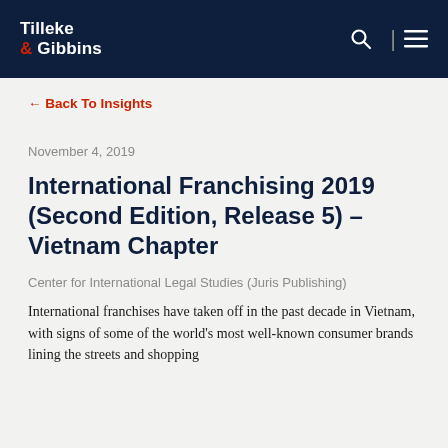Tilleke & Gibbins
← Back To Insights
November 4, 2019
International Franchising 2019 (Second Edition, Release 5) – Vietnam Chapter
Center for International Legal Studies (Juris Publishing)
International franchises have taken off in the past decade in Vietnam, with signs of some of the world's most well-known consumer brands lining the streets and shopping